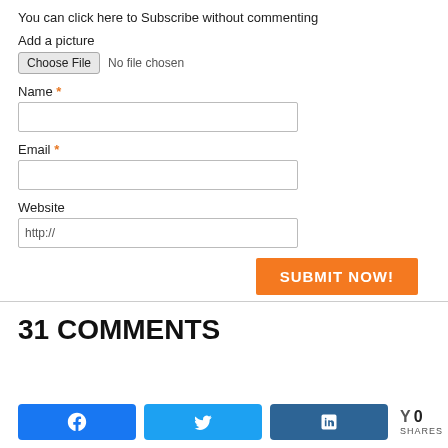You can click here to Subscribe without commenting
Add a picture
Choose File  No file chosen
Name *
Email *
Website
http://
SUBMIT NOW!
31 COMMENTS
[Figure (other): Social share buttons: Facebook, Twitter, LinkedIn, and a share count showing Y 0 SHARES]